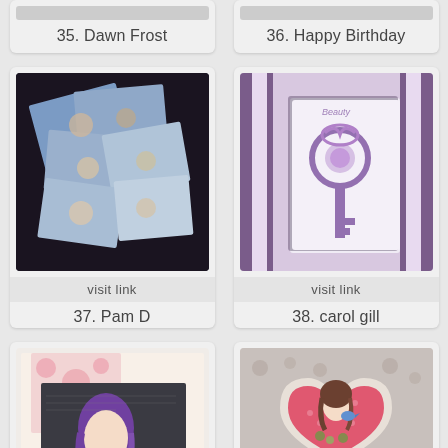35. Dawn Frost
36. Happy Birthday
[Figure (photo): Handmade cards with floral designs arranged on dark background]
visit link
37. Pam D
[Figure (photo): Handmade card with purple key and ribbon decoration on layered background]
visit link
38. carol gill
[Figure (photo): Handmade card with anime-style girl with purple hair on vintage background]
[Figure (photo): Heart-shaped card with anime girl holding a bird on pink and grey background]